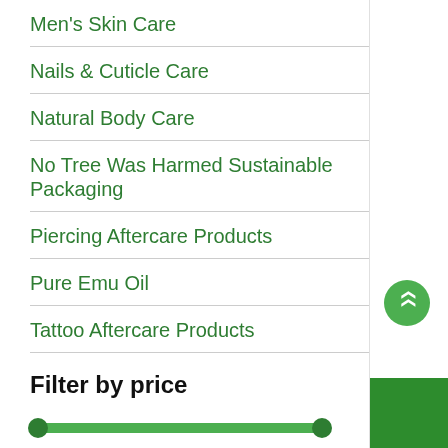Men's Skin Care
Nails & Cuticle Care
Natural Body Care
No Tree Was Harmed Sustainable Packaging
Piercing Aftercare Products
Pure Emu Oil
Tattoo Aftercare Products
Filter by price
[Figure (other): Price range slider from $20 to $40 with green track and two circular handles]
Filter   Price: $20 — $40